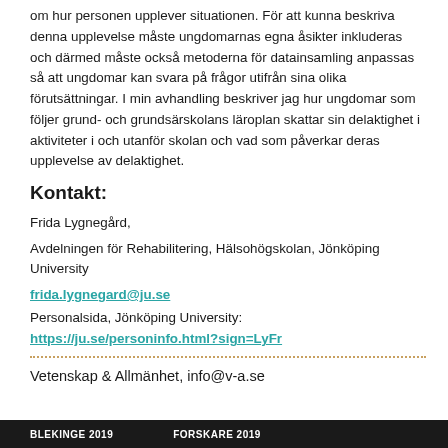om hur personen upplever situationen. För att kunna beskriva denna upplevelse måste ungdomarnas egna åsikter inkluderas och därmed måste också metoderna för datainsamling anpassas så att ungdomar kan svara på frågor utifrån sina olika förutsättningar. I min avhandling beskriver jag hur ungdomar som följer grund- och grundsärskolans läroplan skattar sin delaktighet i aktiviteter i och utanför skolan och vad som påverkar deras upplevelse av delaktighet.
Kontakt:
Frida Lygnegård,
Avdelningen för Rehabilitering, Hälsohögskolan, Jönköping University
frida.lygnegard@ju.se
Personalsida, Jönköping University:
https://ju.se/personinfo.html?sign=LyFr
Vetenskap & Allmänhet, info@v-a.se
BLEKINGE 2019   FORSKARE 2019